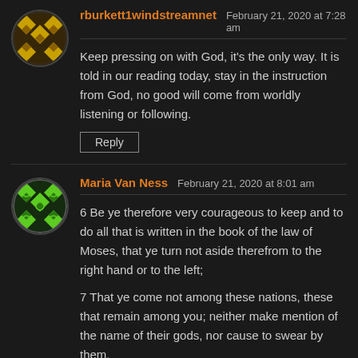[Figure (illustration): Gold/yellow diamond pattern avatar circle for user rburkett1windstreamnet]
rburkett1windstreamnet   February 21, 2020 at 7:28 am
Keep pressing on with God, it's the only way. It is told in our reading today, stay in the instruction from God, no good will come from worldly listening or following.
Reply
[Figure (illustration): Green diamond/lattice pattern avatar circle for user Maria Van Ness]
Maria Van Ness   February 21, 2020 at 8:01 am
6 Be ye therefore very courageous to keep and to do all that is written in the book of the law of Moses, that ye turn not aside therefrom to the right hand or to the left;
7 That ye come not among these nations, these that remain among you; neither make mention of the name of their gods, nor cause to swear by them,